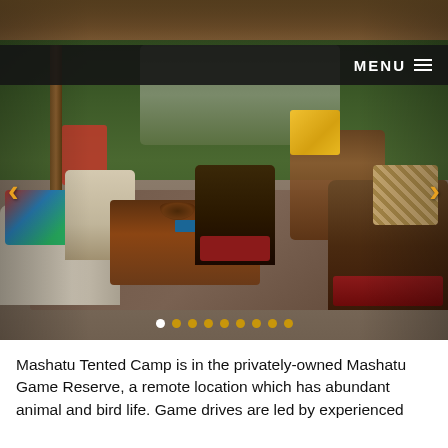[Figure (photo): Interior of Mashatu Tented Camp safari lodge lounge area under thatched roof, with wicker and upholstered chairs, colorful cushions, wooden coffee table with bowl and books, surrounded by African bush/trees. Navigation arrows on left and right. Dark menu bar overlay at top right. Carousel indicator dots at bottom.]
Mashatu Tented Camp is in the privately-owned Mashatu Game Reserve, a remote location which has abundant animal and bird life. Game drives are led by experienced